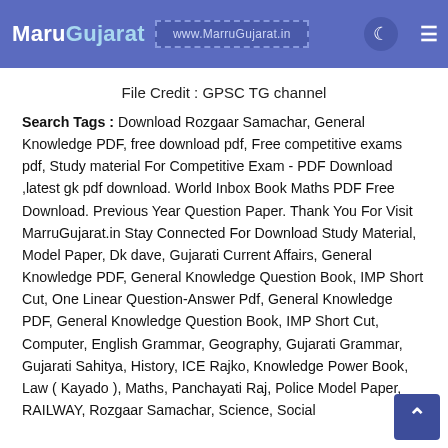MaruGujarat www.MarruGujarat.in
File Credit : GPSC TG channel
Search Tags : Download Rozgaar Samachar, General Knowledge PDF, free download pdf, Free competitive exams pdf, Study material For Competitive Exam - PDF Download ,latest gk pdf download. World Inbox Book Maths PDF Free Download. Previous Year Question Paper. Thank You For Visit MarruGujarat.in Stay Connected For Download Study Material, Model Paper, Dk dave, Gujarati Current Affairs, General Knowledge PDF, General Knowledge Question Book, IMP Short Cut, One Linear Question-Answer Pdf, General Knowledge PDF, General Knowledge Question Book, IMP Short Cut, Computer, English Grammar, Geography, Gujarati Grammar, Gujarati Sahitya, History, ICE Rajko, Knowledge Power Book, Law ( Kayado ), Maths, Panchayati Raj, Police Model Paper, RAILWAY, Rozgaar Samachar, Science, Social